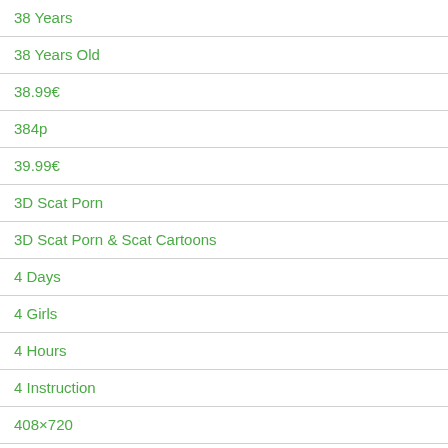38 Years
38 Years Old
38.99€
384p
39.99€
3D Scat Porn
3D Scat Porn & Scat Cartoons
4 Days
4 Girls
4 Hours
4 Instruction
408×720
44